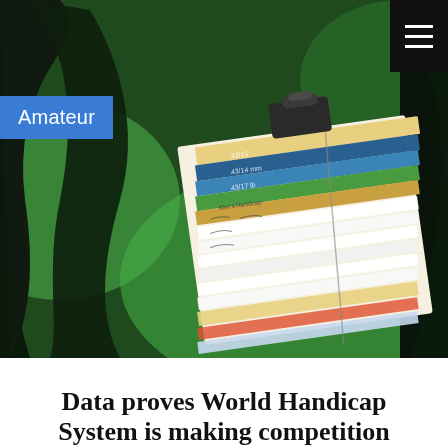[Figure (photo): Close-up photo of a golf scorecard on a clipboard/buggy, showing handwritten scores in rows and columns with colored headers, set against a vivid green golf course background with dark cart frame.]
Amateur
Data proves World Handicap System is making competition